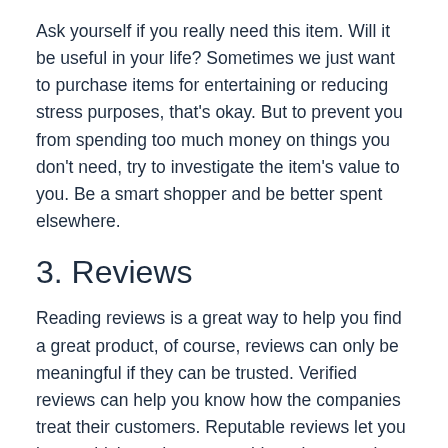Ask yourself if you really need this item. Will it be useful in your life? Sometimes we just want to purchase items for entertaining or reducing stress purposes, that's okay. But to prevent you from spending too much money on things you don't need, try to investigate the item's value to you. Be a smart shopper and be better spent elsewhere.
3. Reviews
Reading reviews is a great way to help you find a great product, of course, reviews can only be meaningful if they can be trusted. Verified reviews can help you know how the companies treat their customers. Reputable reviews let you know which products to avoid, saving your time and hard-earned money, two very valuable resources. In other words, reviews give you a true idea of companies and products before parting with your money.